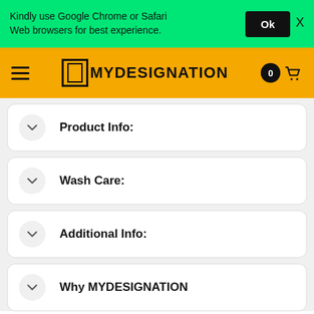Kindly use Google Chrome or Safari Web browsers for best experience.
MYDESIGNATION
Product Info:
Wash Care:
Additional Info:
Why MYDESIGNATION
For the best latest trends th...